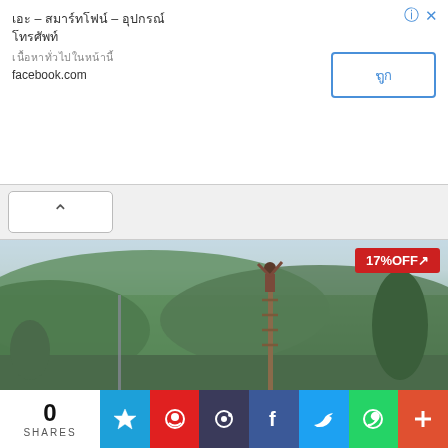[Figure (screenshot): Facebook advertisement banner with Thai text title, subtitle, domain facebook.com, and a blue outlined button with Thai text. Info and close icons in top right.]
[Figure (photo): Outdoor photo showing a person climbing a tall bamboo pole or ladder in a rural landscape with green forested hills in the background. A red '17%OFF↗' badge overlays the top right corner.]
0 SHARES
[Figure (infographic): Social share bar with icons: Flipboard (blue), Weibo (red), PChome (dark), Facebook (blue), Twitter (blue), WhatsApp (green), More/plus (orange-red).]